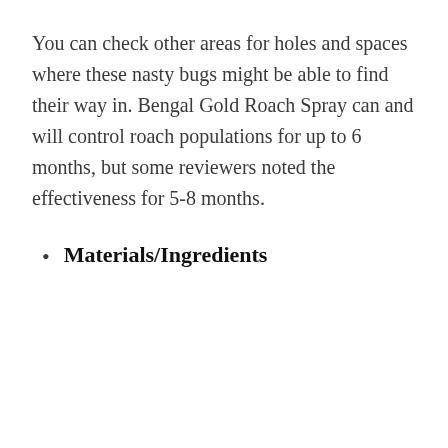You can check other areas for holes and spaces where these nasty bugs might be able to find their way in. Bengal Gold Roach Spray can and will control roach populations for up to 6 months, but some reviewers noted the effectiveness for 5-8 months.
Materials/Ingredients